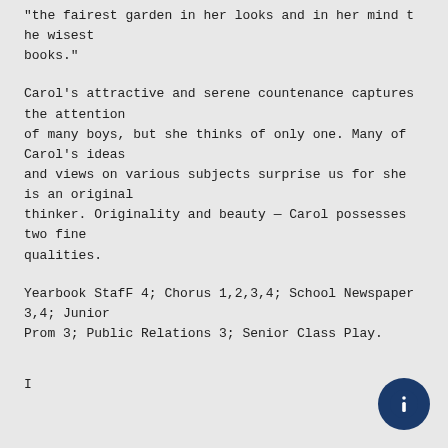"the fairest garden in her looks and in her mind the wisest
books."
Carol's attractive and serene countenance captures the attention
of many boys, but she thinks of only one. Many of Carol's ideas
and views on various subjects surprise us for she is an original
thinker. Originality and beauty — Carol possesses two fine
qualities.
Yearbook StafF 4; Chorus 1,2,3,4; School Newspaper 3,4; Junior
Prom 3; Public Relations 3; Senior Class Play.
I